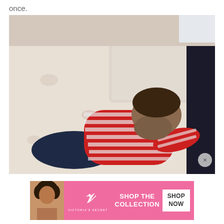once.
[Figure (photo): A sleeping baby wearing a red and white striped long-sleeve shirt and dark navy pants, lying face-down on a white floral quilted bed/mattress. A dark garment is visible on the right side of the frame. The room has a light-colored carpet and wall visible in the background.]
[Figure (other): Victoria's Secret advertisement banner with pink background showing a model with curly hair, the VS logo, text 'SHOP THE COLLECTION' in white, and a white 'SHOP NOW' button.]